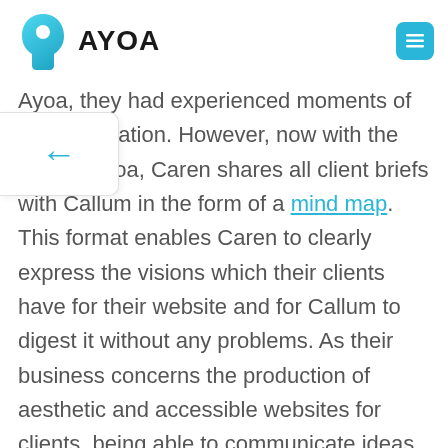AYOA
Ayoa, they had experienced moments of communication. However, now with the help of Ayoa, Caren shares all client briefs with Callum in the form of a mind map. This format enables Caren to clearly express the visions which their clients have for their website and for Callum to digest it without any problems. As their business concerns the production of aesthetic and accessible websites for clients, being able to communicate ideas in an illustrative way has been greatly beneficial for the team.